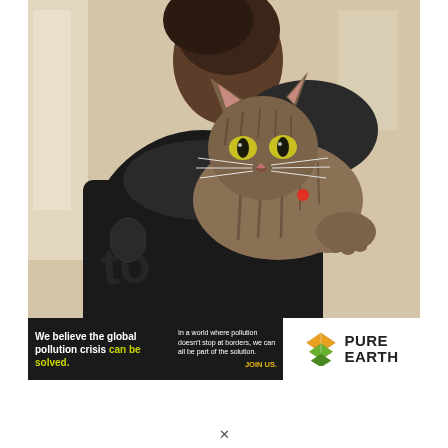[Figure (photo): A tabby cat resting on the shoulder of a person wearing a dark jacket, looking toward the camera. Warm, slightly blurred indoor background with window light.]
[Figure (infographic): Dark banner with Pure Earth logo. Left side white bold text: 'We believe the global pollution crisis can be solved.' with 'can be solved.' in yellow-green. Center white text: 'In a world where pollution doesn't stop at borders, we can all be part of the solution.' with 'JOIN US.' in gold. Right side: Pure Earth logo with diamond/layers icon and bold 'PURE EARTH' text.]